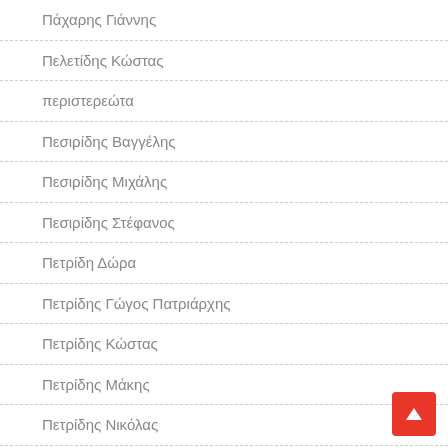Πάχαρης Γιάννης
Πελετίδης Κώστας
περιστερεώτα
Πεσιρίδης Βαγγέλης
Πεσιρίδης Μιχάλης
Πεσιρίδης Στέφανος
Πετρίδη Δώρα
Πετρίδης Γώγος Πατριάρχης
Πετρίδης Κώστας
Πετρίδης Μάκης
Πετρίδης Νικόλας
Πετρίδης Σάββας